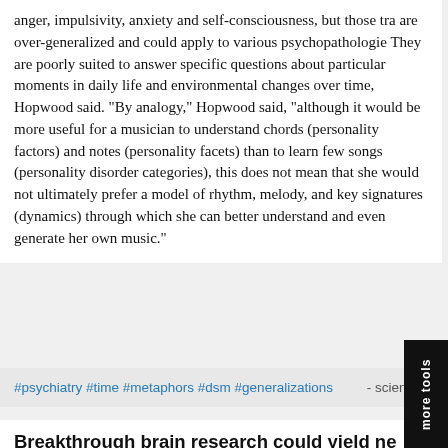anger, impulsivity, anxiety and self-consciousness, but those traits are over-generalized and could apply to various psychopathologies. They are poorly suited to answer specific questions about particular moments in daily life and environmental changes over time, Hopwood said. "By analogy," Hopwood said, "although it would be more useful for a musician to understand chords (personality factors) and notes (personality facets) than to learn few songs (personality disorder categories), this does not mean that she would not ultimately prefer a model of rhythm, melody, and key signatures (dynamics) through which she can better understand and even generate her own music."
#psychiatry #time #metaphors #dsm #generalizations   - scien
Breakthrough brain research could yield new treatments for depression -- ScienceDaily
According to Shanechi, for clinical practitioners, a powerful decoding tool would provide the means to clearly delineate, in real time, the network of brain regions that support emotional